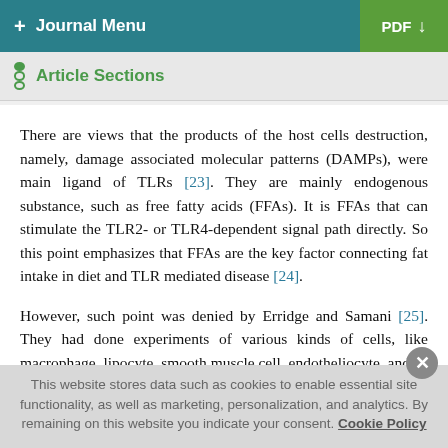+ Journal Menu | PDF
Article Sections
There are views that the products of the host cells destruction, namely, damage associated molecular patterns (DAMPs), were main ligand of TLRs [23]. They are mainly endogenous substance, such as free fatty acids (FFAs). It is FFAs that can stimulate the TLR2- or TLR4-dependent signal path directly. So this point emphasizes that FFAs are the key factor connecting fat intake in diet and TLR mediated disease [24].
However, such point was denied by Erridge and Samani [25]. They had done experiments of various kinds of cells, like macrophage, lipocyte, smooth muscle cell, endotheliocyte, and
This website stores data such as cookies to enable essential site functionality, as well as marketing, personalization, and analytics. By remaining on this website you indicate your consent. Cookie Policy